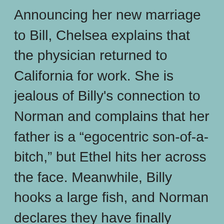Announcing her new marriage to Bill, Chelsea explains that the physician returned to California for work. She is jealous of Billy's connection to Norman and complains that her father is a “egocentric son-of-a-bitch,” but Ethel hits her across the face. Meanwhile, Billy hooks a large fish, and Norman declares they have finally caught the “son-of-a-bitch,” Walter. Back on shore, Ethel encourages Chelsea to make amends together https://27d67e9f24.nxcli.net/find-real-love-online/ with her father. As Norman and Billy pull toward the dock, Chelsea greets Billy and he announces their victory over Walter. Billy